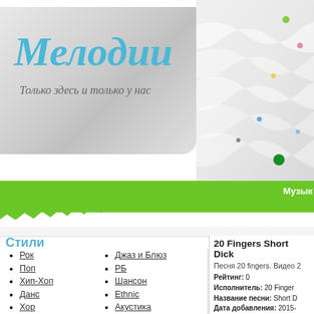[Figure (screenshot): Website header with logo 'Мелодии' and tagline 'Только здесь и только у нас' on grey gradient background with decorative swirl and colored dots on right side]
Музык
Стили
Рок
Поп
Хип-Хоп
Данс
Хор
Металл
Степ
Джаз и Блюз
РБ
Шансон
Ethnic
Акустика
Рэгги
20 Fingers Short Dick
Песня 20 fingers. Видео 2
Рейтинг: 0
Исполнитель: 20 Fingers
Название песни: Short D
Дата добавления: 2015-
Текст просмотрен: 1033